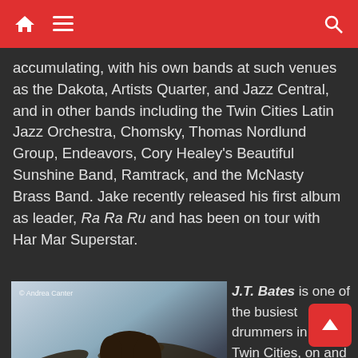[Navigation bar with home, menu, and search icons]
accumulating, with his own bands at such venues as the Dakota, Artists Quarter, and Jazz Central, and in other bands including the Twin Cities Latin Jazz Orchestra, Chomsky, Thomas Nordlund Group, Endeavors, Cory Healey's Beautiful Sunshine Band, Ramtrack, and the McNasty Brass Band. Jake recently released his first album as leader, Ra Ra Ru and has been on tour with Har Mar Superstar.
[Figure (photo): Drummer playing drums intensely, leaning forward over a red drum kit with cymbals. Photo credit: © Andrea Canter]
J.T. Bates is one of the busiest drummers in the Twin Cities, on and off the bandstand. He was a me[mber] of Motion Poets